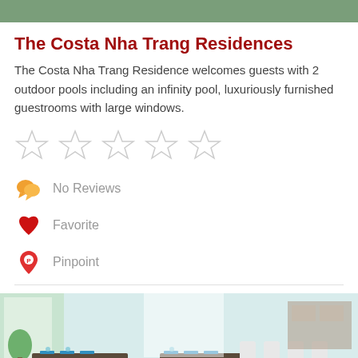[Figure (photo): Top portion of hotel or resort photo, green/nature tones]
The Costa Nha Trang Residences
The Costa Nha Trang Residence welcomes guests with 2 outdoor pools including an infinity pool, luxuriously furnished guestrooms with large windows.
[Figure (infographic): Five empty star rating icons]
No Reviews
Favorite
Pinpoint
[Figure (photo): Restaurant/dining area with blue cushioned chairs, colorful pillows, and set tables]